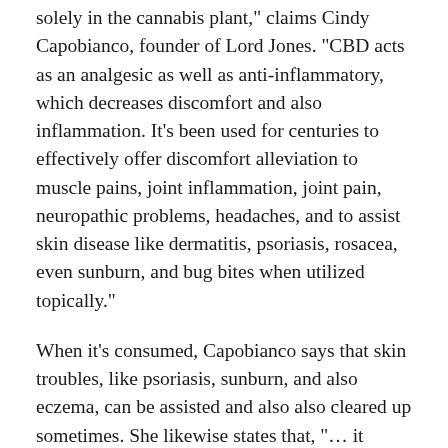solely in the cannabis plant," claims Cindy Capobianco, founder of Lord Jones. "CBD acts as an analgesic as well as anti-inflammatory, which decreases discomfort and also inflammation. It's been used for centuries to effectively offer discomfort alleviation to muscle pains, joint inflammation, joint pain, neuropathic problems, headaches, and to assist skin disease like dermatitis, psoriasis, rosacea, even sunburn, and bug bites when utilized topically."
When it's consumed, Capobianco says that skin troubles, like psoriasis, sunburn, and also eczema, can be assisted and also also cleared up sometimes. She likewise states that, "… it provides remedy for anxiousness and also advertises a calm sense of health."
CBD itself is really a powerful & highly anti-inflammatory